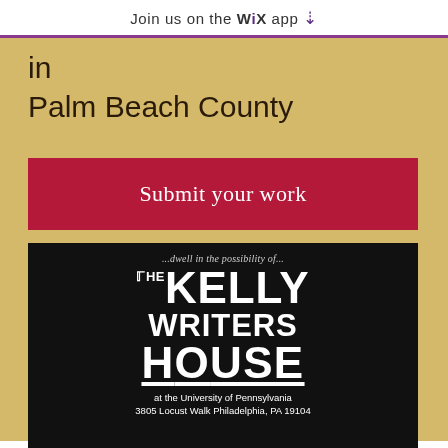Join us on the WiX app ⬇
in
Palm Beach County
Submit your work
[Figure (logo): The Kelly Writers House logo on black background with tagline '...dwell in the possibility of...' and address 'at the University of Pennsylvania, 3805 Locust Walk Philadelphia, PA 19104']